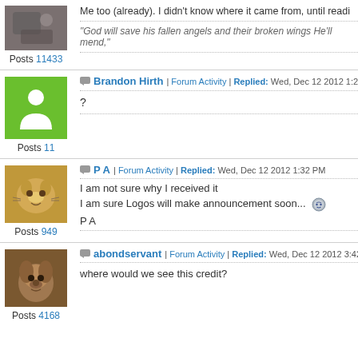[Figure (screenshot): Forum post thread showing user avatars, usernames, post counts, and reply messages]
Me too (already). I didn't know where it came from, until readi...
"God will save his fallen angels and their broken wings He'll mend."
Posts 11433
Brandon Hirth | Forum Activity | Replied: Wed, Dec 12 2012 1:23 PM
?
Posts 11
P A | Forum Activity | Replied: Wed, Dec 12 2012 1:32 PM
I am not sure why I received it
I am sure Logos will make announcement soon...
P A
Posts 949
abondservant | Forum Activity | Replied: Wed, Dec 12 2012 3:42 PM
where would we see this credit?
Posts 4168